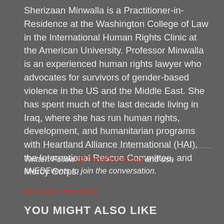Sherizaan Minwalla is a Practitioner-in-Residence at the Washington College of Law in the International Human Rights Clinic at the American University. Professor Minwalla is an experienced human rights lawyer who advocates for survivors of gender-based violence in the US and the Middle East. She has spent much of the last decade living in Iraq, where she has run human rights, development, and humanitarian programs with Heartland Alliance International (HAI), the International Rescue Committee, and Mercy Corps.
Twitter: Follow @ThinkDemocracy and use #NEDEvents to join the conversation.
RELATED CONTENT
YOU MIGHT ALSO LIKE